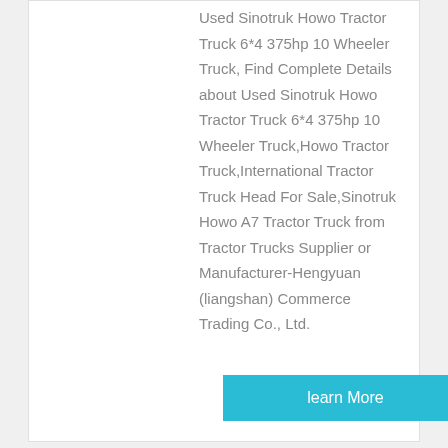Used Sinotruk Howo Tractor Truck 6*4 375hp 10 Wheeler Truck, Find Complete Details about Used Sinotruk Howo Tractor Truck 6*4 375hp 10 Wheeler Truck,Howo Tractor Truck,International Tractor Truck Head For Sale,Sinotruk Howo A7 Tractor Truck from Tractor Trucks Supplier or Manufacturer-Hengyuan (liangshan) Commerce Trading Co., Ltd.
learn More
[Figure (photo): Photo of trucks parked, appears to show heavy trucks from China]
China Second Hand Refurbished...